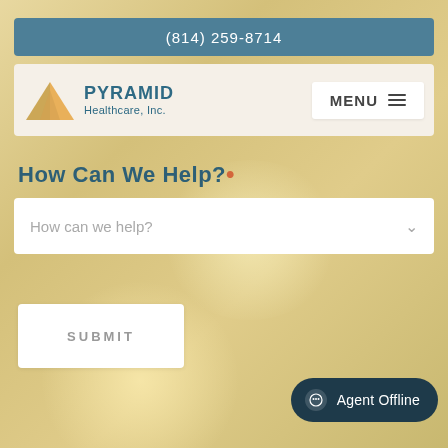(814) 259-8714
[Figure (logo): Pyramid Healthcare, Inc. logo with orange/gold pyramid icon and teal text]
How Can We Help?
How can we help? (dropdown placeholder)
SUBMIT
Agent Offline